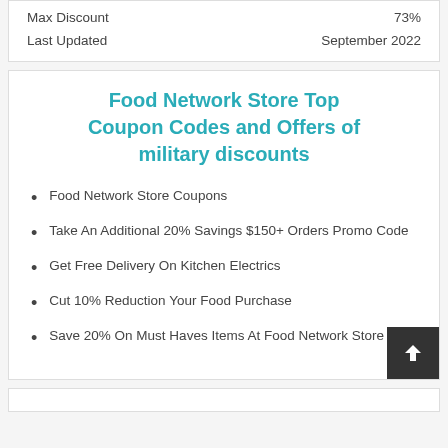|  |  |
| --- | --- |
| Max Discount | 73% |
| Last Updated | September 2022 |
Food Network Store Top Coupon Codes and Offers of military discounts
Food Network Store Coupons
Take An Additional 20% Savings $150+ Orders Promo Code
Get Free Delivery On Kitchen Electrics
Cut 10% Reduction Your Food Purchase
Save 20% On Must Haves Items At Food Network Store